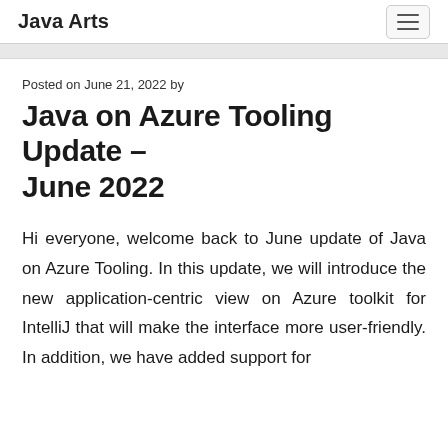Java Arts
Posted on June 21, 2022 by
Java on Azure Tooling Update – June 2022
Hi everyone, welcome back to June update of Java on Azure Tooling. In this update, we will introduce the new application-centric view on Azure toolkit for IntelliJ that will make the interface more user-friendly. In addition, we have added support for